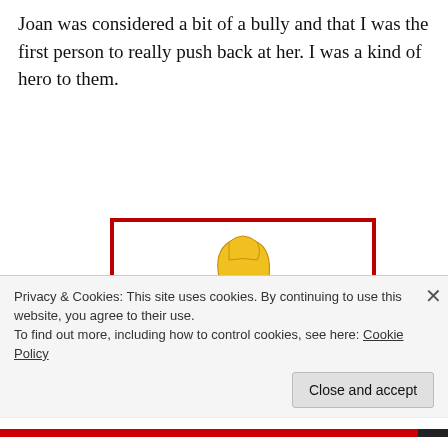Joan was considered a bit of a bully and that I was the first person to really push back at her. I was a kind of hero to them.
[Figure (illustration): Cartoon illustration of a female superhero with blonde hair, wearing a red top, blue skirt, red gloves and boots, with a purple/blue cape, posed in a fighting stance inside a red-bordered frame.]
Privacy & Cookies: This site uses cookies. By continuing to use this website, you agree to their use.
To find out more, including how to control cookies, see here: Cookie Policy
Close and accept